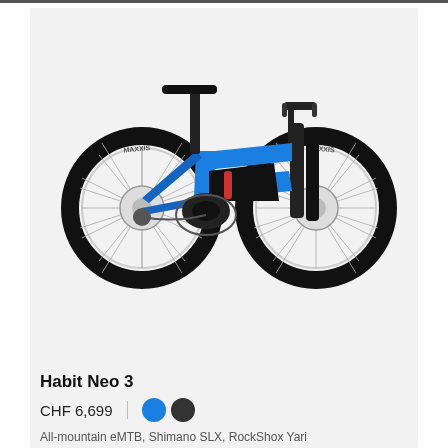+COMPARE
[Figure (photo): Side profile photo of a blue Cannondale Habit Neo 3 electric mountain bike (eMTB) with Maxxis tires, full suspension, and black fork on a light grey background.]
Habit Neo 3
CHF 6,699
All-mountain eMTB, Shimano SLX, RockShox Yari